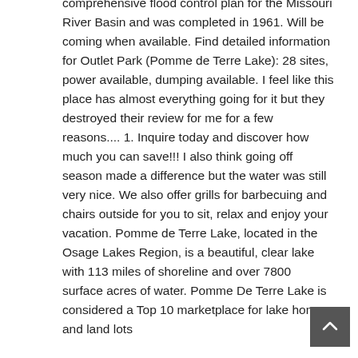comprehensive flood control plan for the Missouri River Basin and was completed in 1961. Will be coming when available. Find detailed information for Outlet Park (Pomme de Terre Lake): 28 sites, power available, dumping available. I feel like this place has almost everything going for it but they destroyed their review for me for a few reasons.... 1. Inquire today and discover how much you can save!!! I also think going off season made a difference but the water was still very nice. We also offer grills for barbecuing and chairs outside for you to sit, relax and enjoy your vacation. Pomme de Terre Lake, located in the Osage Lakes Region, is a beautiful, clear lake with 113 miles of shoreline and over 7800 surface acres of water. Pomme De Terre Lake is considered a Top 10 marketplace for lake homes and land lots